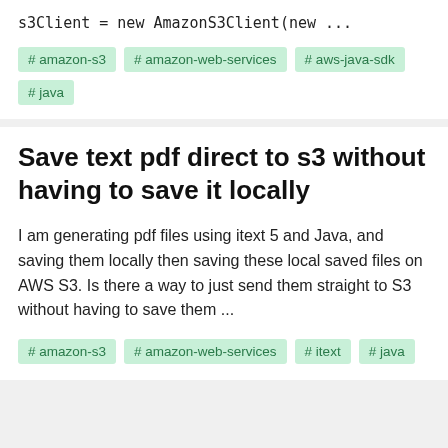s3Client = new AmazonS3Client(new ...
# amazon-s3
# amazon-web-services
# aws-java-sdk
# java
Save text pdf direct to s3 without having to save it locally
I am generating pdf files using itext 5 and Java, and saving them locally then saving these local saved files on AWS S3. Is there a way to just send them straight to S3 without having to save them ...
# amazon-s3
# amazon-web-services
# itext
# java